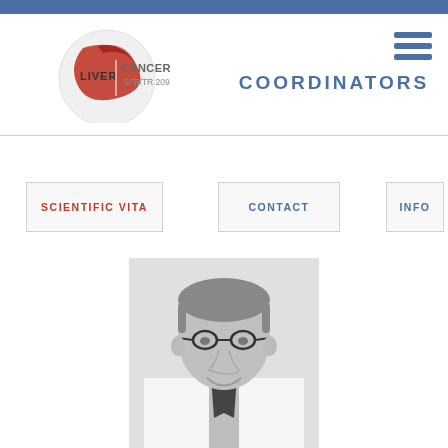[Figure (logo): Liver Cancer SFB/TR 209 logo with red teardrop shape]
COORDINATORS
SCIENTIFIC VITA
CONTACT
INFO
[Figure (photo): Black and white portrait photo of a man in a white coat wearing glasses, smiling]